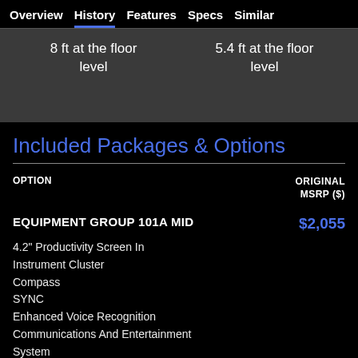Overview  History  Features  Specs  Similar
| 8 ft at the floor level | 5.4 ft at the floor level |
Included Packages & Options
| OPTION | ORIGINAL MSRP ($) |
| --- | --- |
| EQUIPMENT GROUP 101A MID | $2,055 |
| 4.2" Productivity Screen In Instrument Cluster
Compass
SYNC
Enhanced Voice Recognition
Communications And Entertainment System
911 Assist |  |